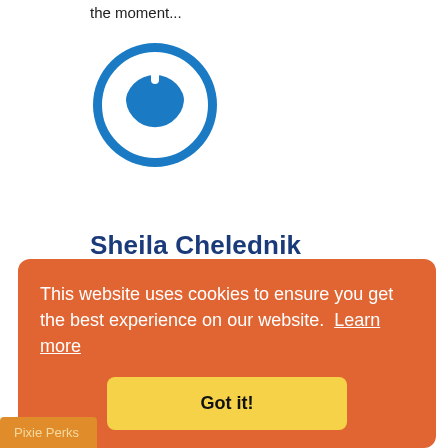the moment...
[Figure (logo): Blue circular power button logo icon]
Sheila Chelednik
February 19, 2021
I love this idea. I would make a bag for Courtney. I think I would make it in a corduroy
This website uses cookies to ensure you get the best experience on our website.  Learn more
Got it!
Pixie Perks